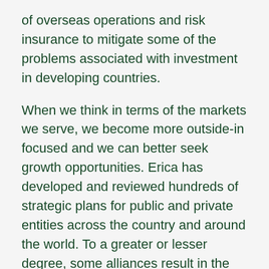of overseas operations and risk insurance to mitigate some of the problems associated with investment in developing countries.
When we think in terms of the markets we serve, we become more outside-in focused and we can better seek growth opportunities. Erica has developed and reviewed hundreds of strategic plans for public and private entities across the country and around the world. To a greater or lesser degree, some alliances result in the virtual integration of the parties through partial equity ownership, through contracts that define rights, roles and responsibilities over a span of time or through the purchase of non-controlling equity interests.
Research and development costs are always increasing and the speed of innovation means that products rapidly become outdated and the risks of investing in developing